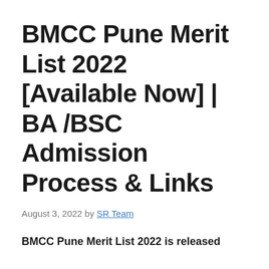BMCC Pune Merit List 2022 [Available Now] | BA /BSC Admission Process & Links
August 3, 2022 by SR Team
BMCC Pune Merit List 2022 is released